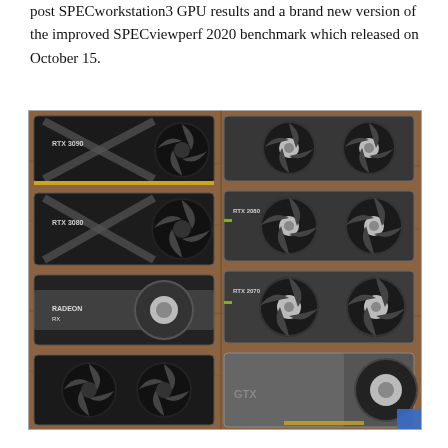post SPECworkstation3 GPU results and a brand new version of the improved SPECviewperf 2020 benchmark which released on October 15.
[Figure (photo): A collection of multiple GPU graphics cards laid out on a wooden surface, including RTX 3090, RTX 3080, Radeon, RTX 2080, RTX 2070, GTX and other NVIDIA and AMD graphics cards arranged in rows.]